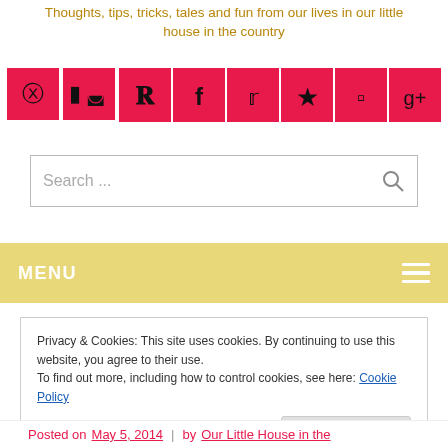Thoughts, tips, tricks, tales and fun from our lives in our little house in the country
[Figure (infographic): Row of 6 pink/red social media icon buttons: Pinterest, Facebook, Twitter, Star/Bloglovin, Instagram, Google+]
[Figure (screenshot): Search input box with placeholder text 'Search ...' and a search icon on the right]
MENU
Privacy & Cookies: This site uses cookies. By continuing to use this website, you agree to their use.
To find out more, including how to control cookies, see here: Cookie Policy
Close and accept
Posted on May 5, 2014 | by Our Little House in the